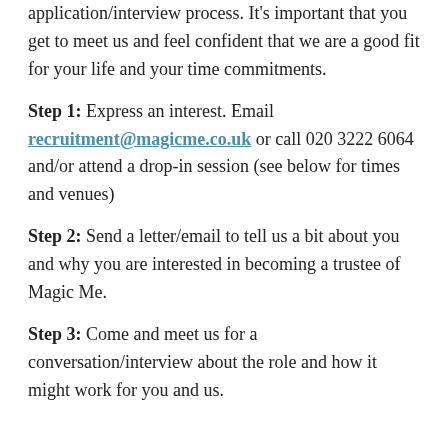application/interview process. It's important that you get to meet us and feel confident that we are a good fit for your life and your time commitments.
Step 1: Express an interest. Email recruitment@magicme.co.uk or call 020 3222 6064 and/or attend a drop-in session (see below for times and venues)
Step 2: Send a letter/email to tell us a bit about you and why you are interested in becoming a trustee of Magic Me.
Step 3: Come and meet us for a conversation/interview about the role and how it might work for you and us.